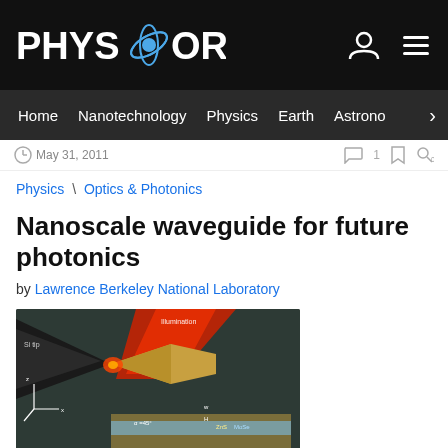PHYS.ORG
Home | Nanotechnology | Physics | Earth | Astronomy
May 31, 2011
Physics \ Optics & Photonics
Nanoscale waveguide for future photonics
by Lawrence Berkeley National Laboratory
[Figure (illustration): Scientific illustration showing a nanoscale waveguide with a Si tip on the left, illumination shown in red from above, and a gold wedge-shaped waveguide structure. Labels include Si tip, Illumination, z/x axes, angle notation, w, H, ZnS, MoSe, and other components.]